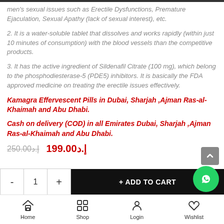men's sexual issues such as Erectile Dysfunctions, Premature Ejaculation, Sexual Apathy (lack of sexual interest), etc.
2. It is a water-soluble tablet that dissolves and works rapidly (within just 10 minutes of consumption) with the blood vessels than the competitive products.
3. It has the active ingredient of Sildenafil Citrate (100 mg), which belong to the phosphodiesterase-5 (PDE5) inhibitors. It is basically the FDA approved medicine on treating the erectile issues effectively.
Kamagra Effervescent Pills in Dubai, Sharjah ,Ajman Ras-al-Khaimah and Abu Dhabi.
Cash on delivery (COD) in all Emirates Dubai, Sharjah ,Ajman Ras-al-Khaimah and Abu Dhabi.
250.00إ.د  199.00إ.د
- 1 + ADD TO CART
Home  Shop  Login  Wishlist